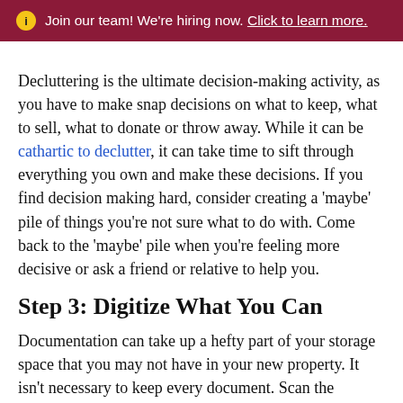ⓘ Join our team! We're hiring now. Click to learn more.
Decluttering is the ultimate decision-making activity, as you have to make snap decisions on what to keep, what to sell, what to donate or throw away. While it can be cathartic to declutter, it can take time to sift through everything you own and make these decisions. If you find decision making hard, consider creating a 'maybe' pile of things you're not sure what to do with. Come back to the 'maybe' pile when you're feeling more decisive or ask a friend or relative to help you.
Step 3: Digitize What You Can
Documentation can take up a hefty part of your storage space that you may not have in your new property. It isn't necessary to keep every document. Scan the documents you know you don't need a hard copy of. And anything you no longer need, shred and